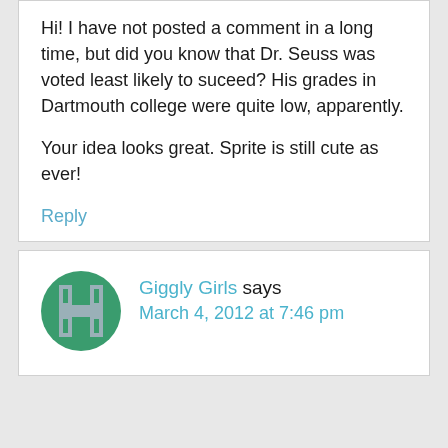Hi! I have not posted a comment in a long time, but did you know that Dr. Seuss was voted least likely to suceed? His grades in Dartmouth college were quite low, apparently.

Your idea looks great. Sprite is still cute as ever!
Reply
[Figure (illustration): Green circular avatar with a stylized letter H icon in grey]
Giggly Girls says
March 4, 2012 at 7:46 pm